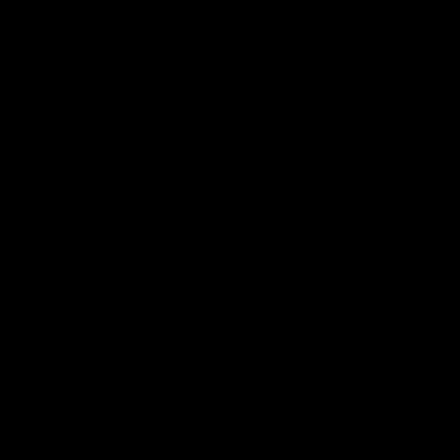[Figure (photo): Completely black image, no visible content or details.]